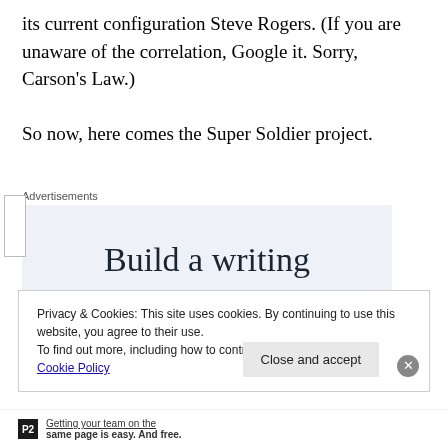its current configuration Steve Rogers. (If you are unaware of the correlation, Google it. Sorry, Carson's Law.)
So now, here comes the Super Soldier project.
[Figure (other): Advertisement box with light blue background showing partial text 'Build a writing']
Privacy & Cookies: This site uses cookies. By continuing to use this website, you agree to their use.
To find out more, including how to control cookies, see here: Cookie Policy
P2 — Getting your team on the same page is easy. And free.